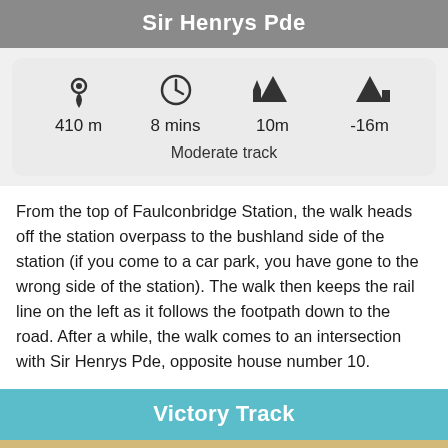Sir Henrys Pde
410 m   8 mins   10m   -16m
Moderate track
From the top of Faulconbridge Station, the walk heads off the station overpass to the bushland side of the station (if you come to a car park, you have gone to the wrong side of the station). The walk then keeps the rail line on the left as it follows the footpath down to the road. After a while, the walk comes to an intersection with Sir Henrys Pde, opposite house number 10.
Victory Track
[Figure (map): Partial map strip at the bottom of the page]